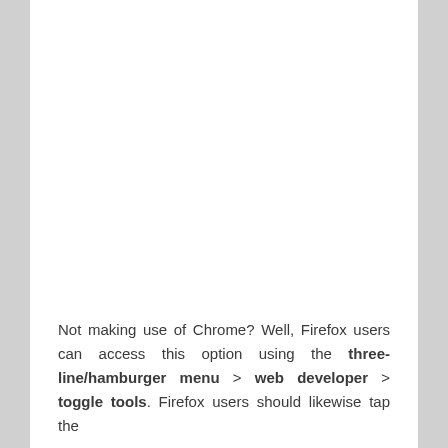Not making use of Chrome? Well, Firefox users can access this option using the three-line/hamburger menu > web developer > toggle tools. Firefox users should likewise tap the